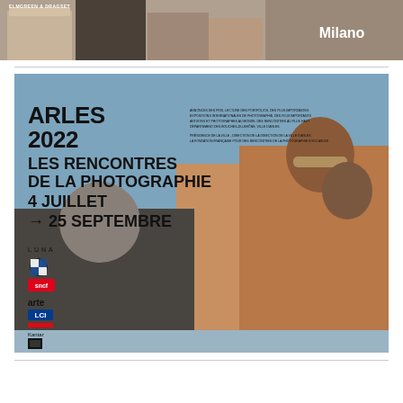[Figure (photo): Top image showing sculptural cardboard or tan/brown box forms against a dark background, with 'ELMGREEN & DRAGSET' text and 'Milano' label]
[Figure (photo): Arles 2022 Les Rencontres de la Photographie poster. Bold black text on left reads 'ARLES 2022 LES RENCONTRES DE LA PHOTOGRAPHIE 4 JUILLET → 25 SEPTEMBRE'. Background shows a composite photo of men, one in a brown/orange jacket with sunglasses. Sponsor logos visible on lower left including BMW, SNCF, arte, LCI, Kanlaf. Small text credits in upper middle area.]